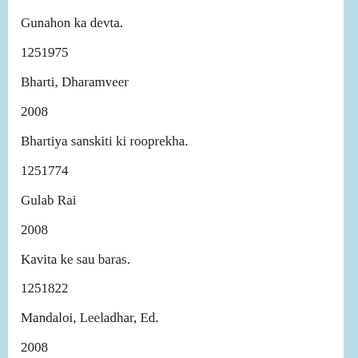Gunahon ka devta.
1251975
Bharti, Dharamveer
2008
Bhartiya sanskiti ki rooprekha.
1251774
Gulab Rai
2008
Kavita ke sau baras.
1251822
Mandaloi, Leeladhar, Ed.
2008
Ismat chugtai ke sarvashreshth kananiyan.